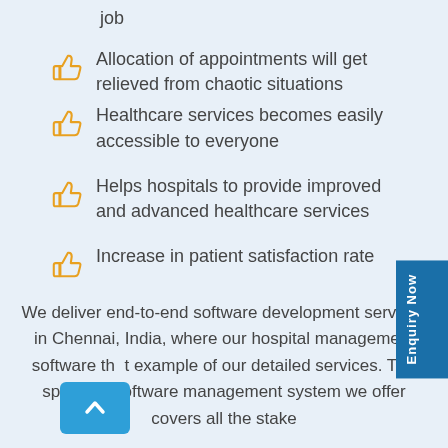job
Allocation of appointments will get relieved from chaotic situations
Healthcare services becomes easily accessible to everyone
Helps hospitals to provide improved and advanced healthcare services
Increase in patient satisfaction rate
We deliver end-to-end software development services in Chennai, India, where our hospital management software th t example of our detailed services. The speculati software management system we offer covers all the stake